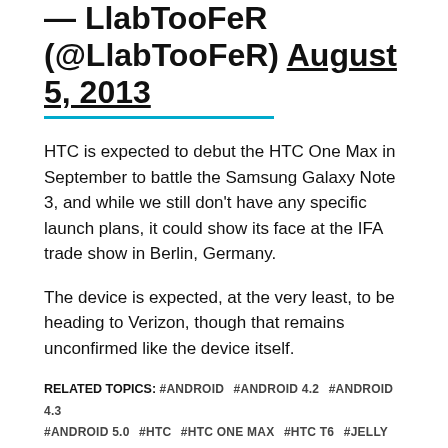— LlabTooFeR (@LlabTooFeR) August 5, 2013
HTC is expected to debut the HTC One Max in September to battle the Samsung Galaxy Note 3, and while we still don't have any specific launch plans, it could show its face at the IFA trade show in Berlin, Germany.
The device is expected, at the very least, to be heading to Verizon, though that remains unconfirmed like the device itself.
RELATED TOPICS: #ANDROID #ANDROID 4.2 #ANDROID 4.3 #ANDROID 5.0 #HTC #HTC ONE MAX #HTC T6 #JELLY BEAN #KEY LIME PIE
CLICK TO COMMENT